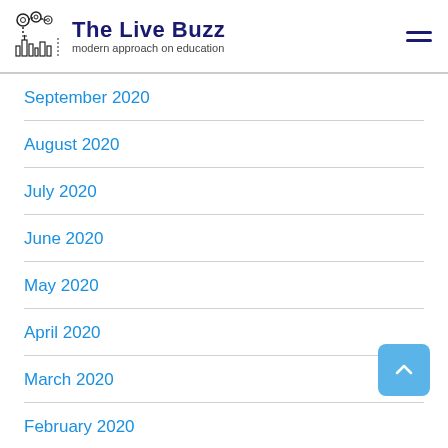The Live Buzz — modern approach on education
September 2020
August 2020
July 2020
June 2020
May 2020
April 2020
March 2020
February 2020